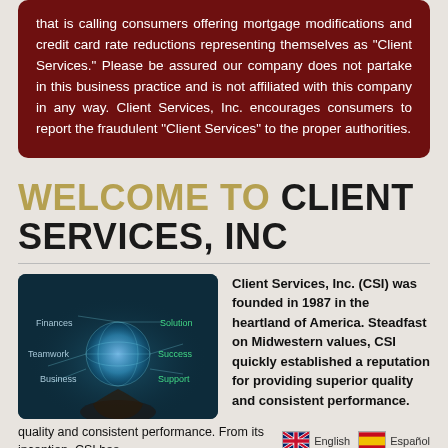that is calling consumers offering mortgage modifications and credit card rate reductions representing themselves as “Client Services.” Please be assured our company does not partake in this business practice and is not affiliated with this company in any way. Client Services, Inc. encourages consumers to report the fraudulent “Client Services” to the proper authorities.
WELCOME TO CLIENT SERVICES, INC
[Figure (illustration): A person holding a glowing globe with business terms: Finances, Teamwork, Business, Solution, Success, Support]
Client Services, Inc. (CSI) was founded in 1987 in the heartland of America. Steadfast on Midwestern values, CSI quickly established a reputation for providing superior quality and consistent performance. From its inception, CSI has
quality and consistent performance. From its inception, CSI has
English   Español